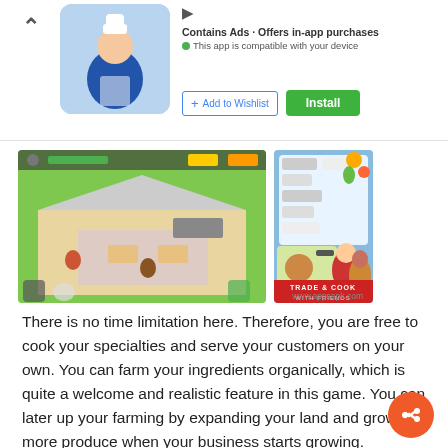[Figure (screenshot): Google Play Store app page showing a cooking/restaurant game. Top section shows app icon (chef in blue apron), 'Contains Ads · Offers in-app purchases' text, compatibility notice, Add to Wishlist and Install buttons. Below are two game screenshots: left shows isometric restaurant interior, right shows 'Trade & Cook With Friends' game art.]
There is no time limitation here. Therefore, you are free to cook your specialties and serve your customers on your own. You can farm your ingredients organically, which is quite a welcome and realistic feature in this game. You can later up your farming by expanding your land and growing more produce when your business starts growing.